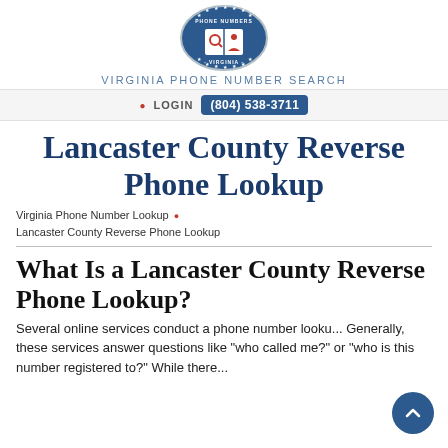[Figure (logo): Oval logo with navy blue border and stars, open book with magnifying glass and person icon, text 'PHONE NUMBERS' at top and '· VIRGINIA ·' at bottom]
VIRGINIA PHONE NUMBER SEARCH
Lancaster County Reverse Phone Lookup
Virginia Phone Number Lookup • Lancaster County Reverse Phone Lookup
What Is a Lancaster County Reverse Phone Lookup?
Several online services conduct a phone number looku... Generally, these services answer questions like "who called me?" or "who is this number registered to?" While there...